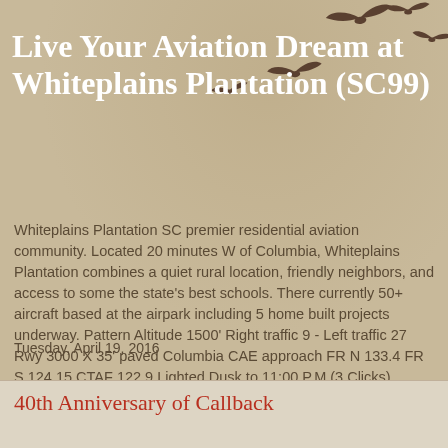[Figure (illustration): Silhouettes of birds in flight arranged in upper right area of beige/tan background]
Live Your Aviation Dream at Whiteplains Plantation (SC99)
Whiteplains Plantation SC premier residential aviation community. Located 20 minutes W of Columbia, Whiteplains Plantation combines a quiet rural location, friendly neighbors, and access to some the state's best schools. There currently 50+ aircraft based at the airpark including 5 home built projects underway. Pattern Altitude 1500' Right traffic 9 - Left traffic 27 Rwy 3000 X 35' paved Columbia CAE approach FR N 133.4 FR S 124.15 CTAF 122.9 Lighted Dusk to 11:00 P.M.(3 Clicks)
Tuesday, April 19, 2016
40th Anniversary of Callback